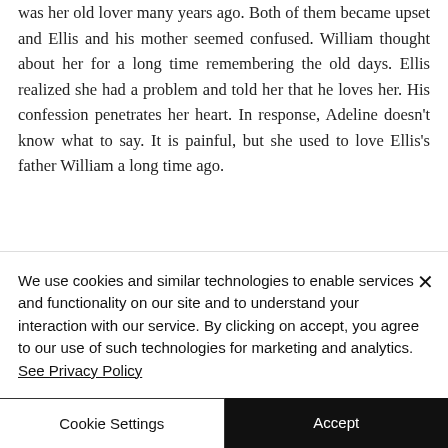was her old lover many years ago. Both of them became upset and Ellis and his mother seemed confused. William thought about her for a long time remembering the old days. Ellis realized she had a problem and told her that he loves her. His confession penetrates her heart. In response, Adeline doesn't know what to say. It is painful, but she used to love Ellis's father William a long time ago.
We use cookies and similar technologies to enable services and functionality on our site and to understand your interaction with our service. By clicking on accept, you agree to our use of such technologies for marketing and analytics. See Privacy Policy